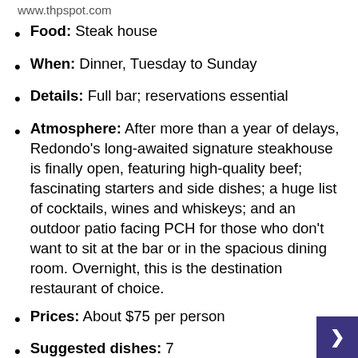www.thpspot.com
Food: Steak house
When: Dinner, Tuesday to Sunday
Details: Full bar; reservations essential
Atmosphere: After more than a year of delays, Redondo’s long-awaited signature steakhouse is finally open, featuring high-quality beef; fascinating starters and side dishes; a huge list of cocktails, wines and whiskeys; and an outdoor patio facing PCH for those who don’t want to sit at the bar or in the spacious dining room. Overnight, this is the destination restaurant of choice.
Prices: About $75 per person
Suggested dishes: 7 Soups/Breads/Greens ($7-$16), 8